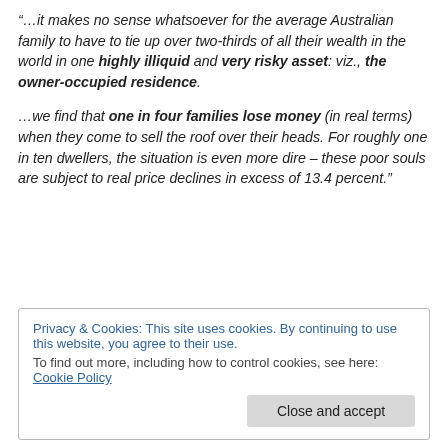“…it makes no sense whatsoever for the average Australian family to have to tie up over two-thirds of all their wealth in the world in one highly illiquid and very risky asset: viz., the owner-occupied residence.
…we find that one in four families lose money (in real terms) when they come to sell the roof over their heads. For roughly one in ten dwellers, the situation is even more dire – these poor souls are subject to real price declines in excess of 13.4 percent.”
Privacy & Cookies: This site uses cookies. By continuing to use this website, you agree to their use.
To find out more, including how to control cookies, see here: Cookie Policy